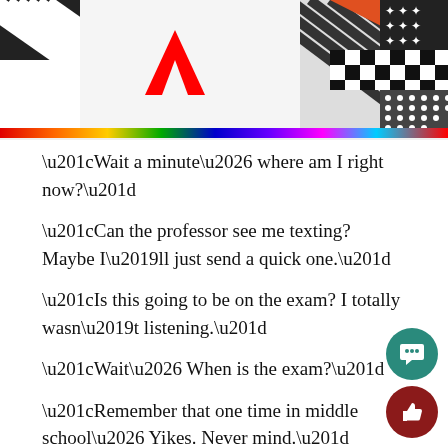[Figure (illustration): Adobe banner header with Adobe logo on left, decorative diagonal stripe patterns and black-and-white checkerboard and dot patterns, with orange/red triangular shape. Rainbow colored horizontal bar at bottom of banner.]
“Wait a minute… where am I right now?”
“Can the professor see me texting? Maybe I’ll just send a quick one.”
“Is this going to be on the exam? I totally wasn’t listening.”
“Wait… When is the exam?”
“Remember that one time in middle school… Yikes. Never mind.”
“I wonder what Michelle Obama is doing right now. Probably being an independent woman somewhere.”
“I’m totally about to start eating healthy.”